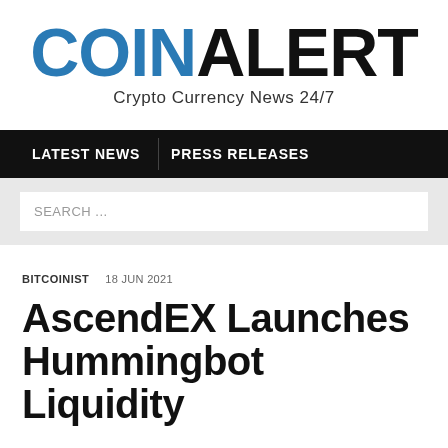COINALERT Crypto Currency News 24/7
LATEST NEWS | PRESS RELEASES
SEARCH ...
BITCOINIST   18 JUN 2021
AscendEX Launches Hummingbot Liquidity